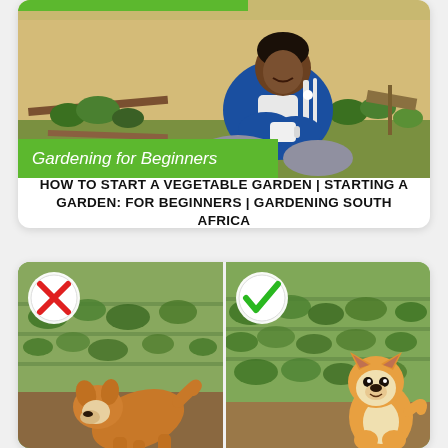[Figure (photo): Top card with a man sitting in a garden wearing a blue Adidas jacket, holding a white mug. Green banner at top reads 'Gardening for Beginners'. Photo thumbnail of a YouTube-style video.]
HOW TO START A VEGETABLE GARDEN | STARTING A GARDEN: FOR BEGINNERS | GARDENING SOUTH AFRICA
[Figure (photo): Two side-by-side garden photos of a Shiba Inu dog. Left image shows the dog digging/moving in a garden with a red X badge (wrong). Right image shows the dog sitting calmly in a garden with a green checkmark badge (correct).]